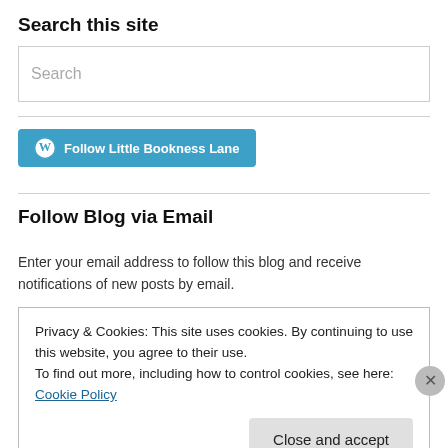Search this site
[Figure (screenshot): Search input box with placeholder text 'Search']
[Figure (screenshot): Blue 'Follow Little Bookness Lane' WordPress follow button with WordPress logo icon]
Follow Blog via Email
Enter your email address to follow this blog and receive notifications of new posts by email.
Privacy & Cookies: This site uses cookies. By continuing to use this website, you agree to their use.
To find out more, including how to control cookies, see here: Cookie Policy
Close and accept